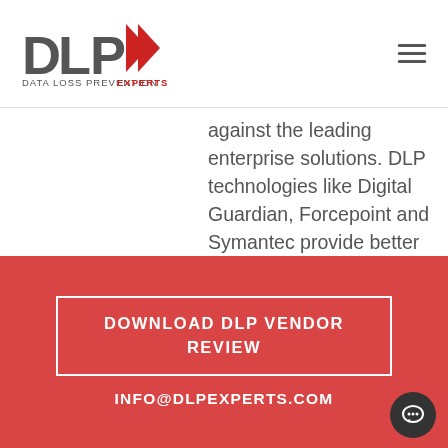DLPX - DATA LOSS PREVENTION EXPERTS
against the leading enterprise solutions. DLP technologies like Digital Guardian, Forcepoint and Symantec provide better overall coverage and with more effective detection accuracy. Here are some questions to consider [...]
READ MORE
DOWNLOAD DLP VENDOR REVIEW
INFO@DLPEXPERTS.COM